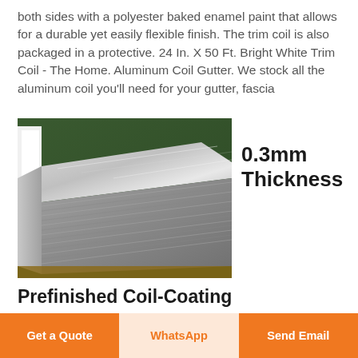both sides with a polyester baked enamel paint that allows for a durable yet easily flexible finish. The trim coil is also packaged in a protective. 24 In. X 50 Ft. Bright White Trim Coil - The Home. Aluminum Coil Gutter. We stock all the aluminum coil you'll need for your gutter, fascia
[Figure (photo): Stack of aluminum coil sheets stacked on a pallet in a factory/warehouse setting, showing silver metallic surface]
0.3mm Thickness
Prefinished Coil-Coating
Get a Quote
WhatsApp
Send Email